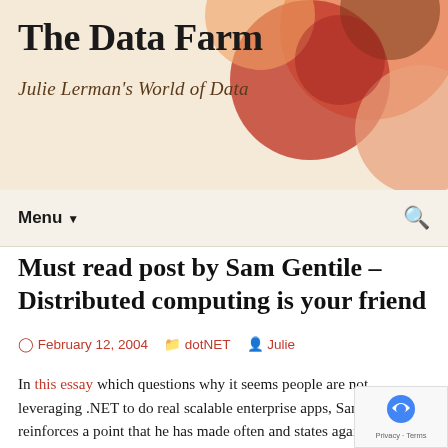The Data Farm
Julie Lerman's World of Data
Must read post by Sam Gentile – Distributed computing is your friend
February 12, 2004   dotNET   Julie
In this essay which questions why it seems people are not leveraging .NET to do real scalable enterprise apps, Sam reinforces a point that he has made often and states again in his comments on this post. Too many devel pick up Visual Studio.NET and kind of start where the off, without looking to see what's new in there. They get